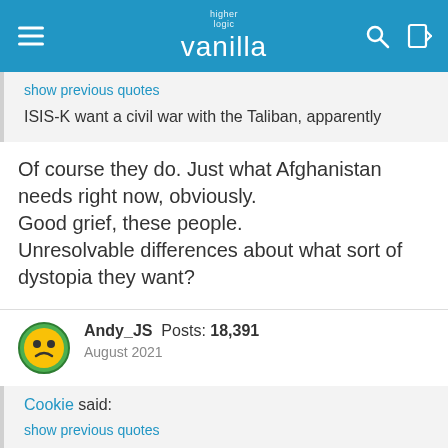higher logic vanilla
show previous quotes
ISIS-K want a civil war with the Taliban, apparently
Of course they do. Just what Afghanistan needs right now, obviously.
Good grief, these people.
Unresolvable differences about what sort of dystopia they want?
Andy_JS  Posts: 18,391
August 2021
Cookie said:
show previous quotes
I'm a bit puzzled that this is a suicide attack